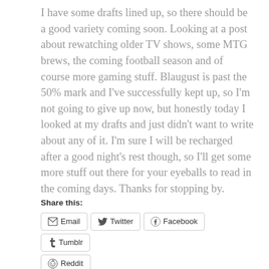I have some drafts lined up, so there should be a good variety coming soon. Looking at a post about rewatching older TV shows, some MTG brews, the coming football season and of course more gaming stuff. Blaugust is past the 50% mark and I've successfully kept up, so I'm not going to give up now, but honestly today I looked at my drafts and just didn't want to write about any of it. I'm sure I will be recharged after a good night's rest though, so I'll get some more stuff out there for your eyeballs to read in the coming days. Thanks for stopping by.
Share this:
Email | Twitter | Facebook | Tumblr | Reddit
[Figure (other): Like button and row of user avatar thumbnails at bottom of blog post]